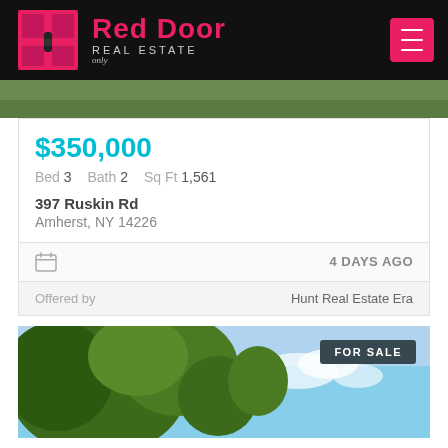Red Door REAL ESTATE
[Figure (photo): Partial view of grass and driveway area, property exterior]
$350,000
Bed 3  Bath 2  Sq Ft 1,561
397 Ruskin Rd
Amherst, NY 14226
4 DAYS AGO
Offered by  Hunt Real Estate Era
[Figure (photo): Tree canopy against sky, FOR SALE badge visible]